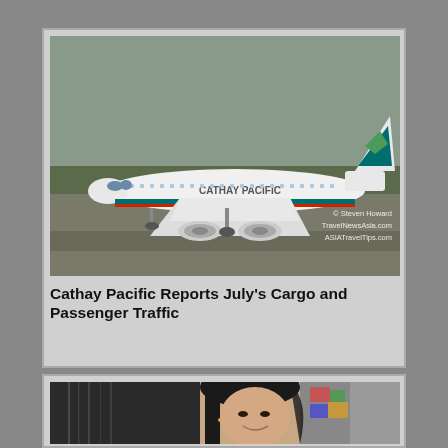[Figure (photo): Cathay Pacific Airbus A340 wide-body aircraft on a taxiway, seen from the side, with Cathay Pacific livery visible on the fuselage. Overcast sky in background with trees. Watermark: © Steven Howard TravelNewsAsia.com ASIATravelTips.com]
Cathay Pacific Reports July's Cargo and Passenger Traffic
[Figure (photo): Portrait photo of an Asian woman with dark hair, smiling, in front of a colorful background.]